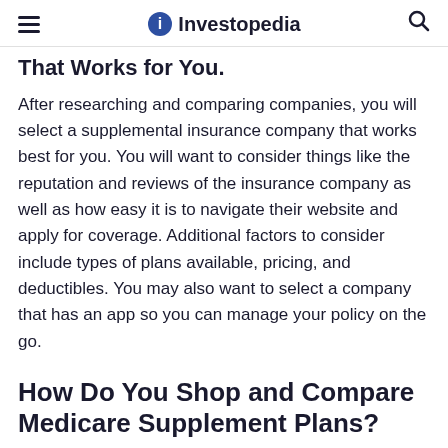Investopedia
That Works for You.
After researching and comparing companies, you will select a supplemental insurance company that works best for you. You will want to consider things like the reputation and reviews of the insurance company as well as how easy it is to navigate their website and apply for coverage. Additional factors to consider include types of plans available, pricing, and deductibles. You may also want to select a company that has an app so you can manage your policy on the go.
How Do You Shop and Compare Medicare Supplement Plans?